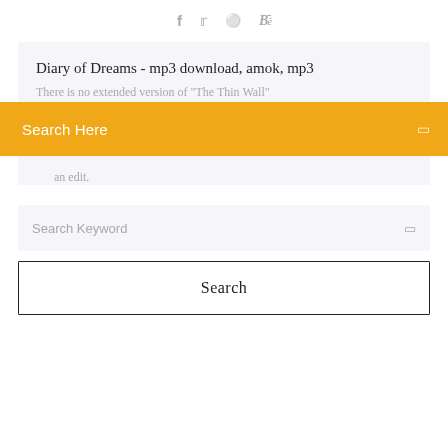f  ✦  ⊕  Bē
Diary of Dreams - mp3 download, amok, mp3
There is no extended version of "The Thin Wall"
Search Here
an edit.
Search Keyword
Search